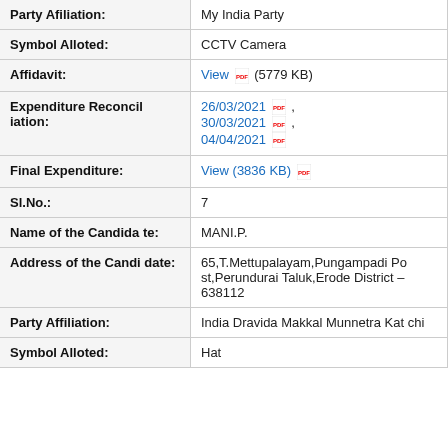| Field | Value |
| --- | --- |
| Party Affiliation: | My India Party |
| Symbol Alloted: | CCTV Camera |
| Affidavit: | View (5779 KB) |
| Expenditure Reconciliation: | 26/03/2021 , 30/03/2021 , 04/04/2021 |
| Final Expenditure: | View (3836 KB) |
| Sl.No.: | 7 |
| Name of the Candidate: | MANI.P. |
| Address of the Candidate: | 65,T.Mettupalayam,Pungampadi Post,Perundurai Taluk,Erode District – 638112 |
| Party Affiliation: | India Dravida Makkal Munnetra Katchi |
| Symbol Alloted: | Hat |